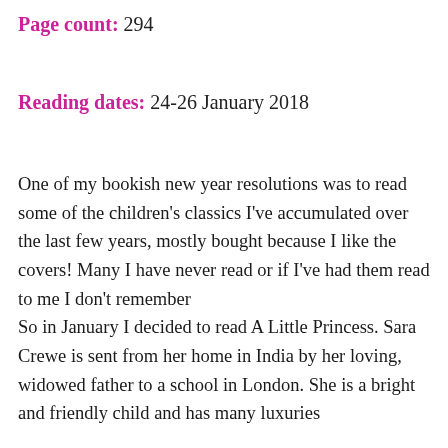Page count: 294
Reading dates: 24-26 January 2018
One of my bookish new year resolutions was to read some of the children's classics I've accumulated over the last few years, mostly bought because I like the covers! Many I have never read or if I've had them read to me I don't remember
So in January I decided to read A Little Princess. Sara Crewe is sent from her home in India by her loving, widowed father to a school in London. She is a bright and friendly child and has many luxuries